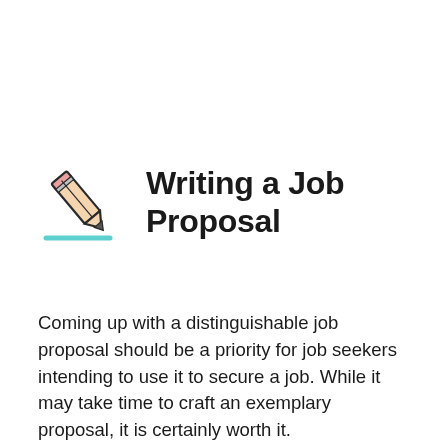[Figure (illustration): Pencil/pen icon with a teal underline stroke, illustrated in outline style with peach/tan fill]
Writing a Job Proposal
Coming up with a distinguishable job proposal should be a priority for job seekers intending to use it to secure a job. While it may take time to craft an exemplary proposal, it is certainly worth it.
Always conduct thorough research to get enough and accurate details to craft the